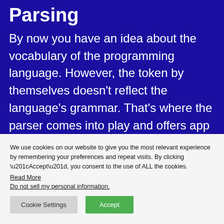Parsing
By now you have an idea about the vocabulary of the programming language. However, the token by themselves doesn't reflect the language's grammar. That's where the parser comes into play and offers app owners the ability to test code with the correct security
We use cookies on our website to give you the most relevant experience by remembering your preferences and repeat visits. By clicking “Accept”, you consent to the use of ALL the cookies.
Read More
Do not sell my personal information.